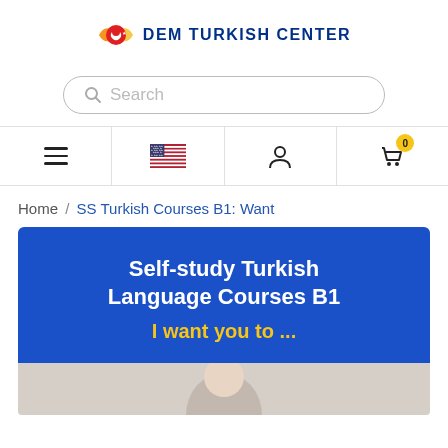[Figure (logo): DEM Turkish Center logo with a red heart shape containing a crescent and star, orange and yellow wings, and blue bold text DEM TURKISH CENTER]
[Figure (screenshot): Search bar with magnifying glass icon and placeholder text Search]
[Figure (screenshot): Navigation bar with hamburger menu, US flag, user icon, and shopping cart with badge 0]
Home / SS Turkish Courses B1: Want
[Figure (illustration): Blue banner with white bold text Self-study Turkish Language Courses B1 and yellow text I want you to ...]
[Figure (photo): Bottom portion of a person visible, partial photo cut off at the bottom of the page]